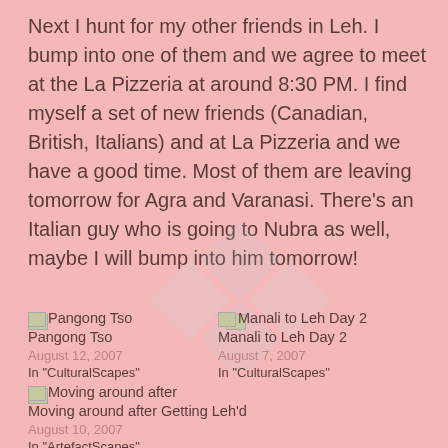Next I hunt for my other friends in Leh. I bump into one of them and we agree to meet at the La Pizzeria at around 8:30 PM. I find myself a set of new friends (Canadian, British, Italians) and at La Pizzeria and we have a good time. Most of them are leaving tomorrow for Agra and Varanasi. There's an Italian guy who is going to Nubra as well, maybe I will bump into him tomorrow!
[Figure (logo): Watermark logo with diamond shapes in light blue/white]
[Figure (photo): Small thumbnail image placeholder for Pangong Tso]
Pangong Tso
August 12, 2007
In "CulturalScapes"
[Figure (photo): Small thumbnail image placeholder for Manali to Leh Day 2]
Manali to Leh Day 2
August 7, 2007
In "CulturalScapes"
[Figure (photo): Small thumbnail image placeholder for Moving around after Getting Leh'd]
Moving around after Getting Leh'd
August 10, 2007
In "ArtefactScapes"